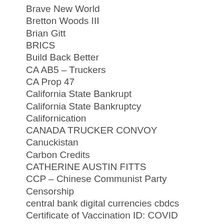Brave New World
Bretton Woods III
Brian Gitt
BRICS
Build Back Better
CA AB5 – Truckers
CA Prop 47
California State Bankrupt
California State Bankruptcy
Californication
CANADA TRUCKER CONVOY
Canuckistan
Carbon Credits
CATHERINE AUSTIN FITTS
CCP – Chinese Communist Party
Censorship
central bank digital currencies cbdcs
Certificate of Vaccination ID: COVID
Chapter 1
Chauvin Verdict
Chauvin Jury